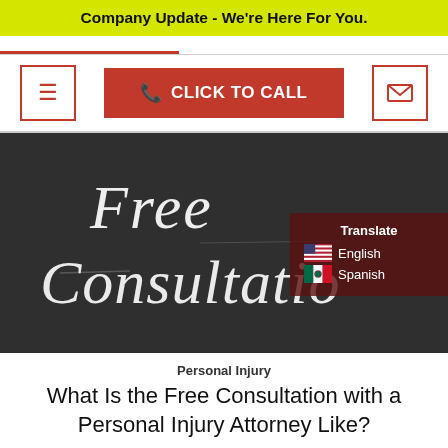Company Update - We're Here For You.
[Figure (screenshot): Navigation bar with hamburger menu icon, red CLICK TO CALL button, and envelope/email icon]
[Figure (photo): Chalkboard with 'Free Consultation' written in chalk with a hand holding chalk, and a translate overlay showing English and Spanish options]
Personal Injury
What Is the Free Consultation with a Personal Injury Attorney Like?